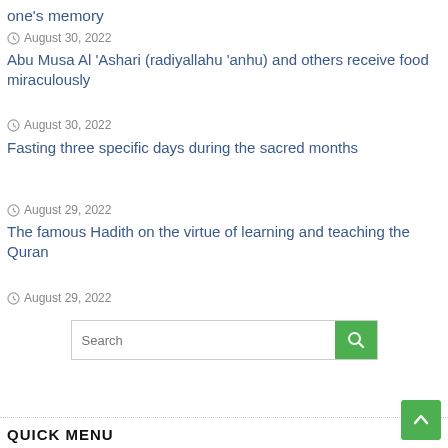one's memory
August 30, 2022
Abu Musa Al 'Ashari (radiyallahu 'anhu) and others receive food miraculously
August 30, 2022
Fasting three specific days during the sacred months
August 29, 2022
The famous Hadith on the virtue of learning and teaching the Quran
August 29, 2022
QUICK MENU